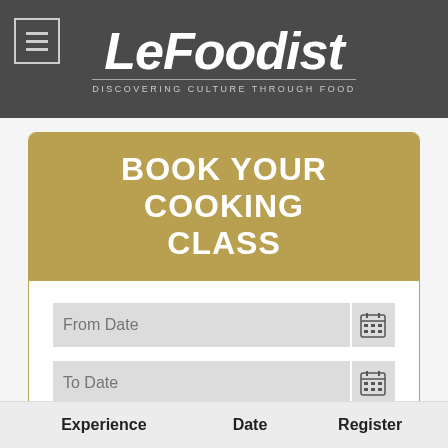[Figure (logo): LeFoodist logo with tagline DISCOVERING CULTURE THROUGH FOOD on dark grey header background]
BOOK YOUR COOKING CLASS
[Figure (screenshot): Booking form with From Date input, To Date input with calendar icons, Select Category dropdown, and SEARCH button]
| Experience | Date | Register |
| --- | --- | --- |